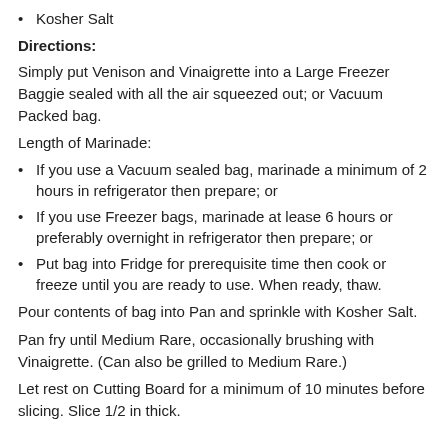Kosher Salt
Directions:
Simply put Venison and Vinaigrette into a Large Freezer Baggie sealed with all the air squeezed out; or Vacuum Packed bag.
Length of Marinade:
If you use a Vacuum sealed bag, marinade a minimum of 2 hours in refrigerator then prepare; or
If you use Freezer bags, marinade at lease 6 hours or preferably overnight in refrigerator then prepare; or
Put bag into Fridge for prerequisite time then cook or freeze until you are ready to use.  When ready, thaw.
Pour contents of bag into Pan and sprinkle with Kosher Salt.
Pan fry until Medium Rare, occasionally brushing with Vinaigrette.  (Can also be grilled to Medium Rare.)
Let rest on Cutting Board for a minimum of 10 minutes before slicing.  Slice 1/2 in thick.